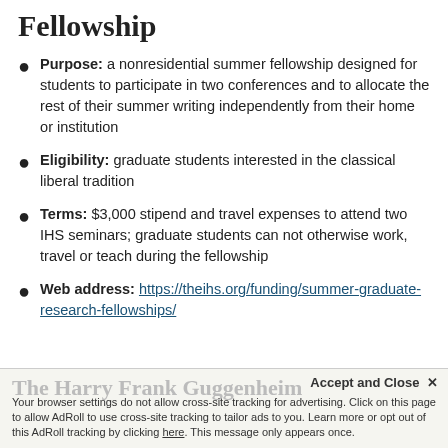Fellowship
Purpose: a nonresidential summer fellowship designed for students to participate in two conferences and to allocate the rest of their summer writing independently from their home or institution
Eligibility: graduate students interested in the classical liberal tradition
Terms: $3,000 stipend and travel expenses to attend two IHS seminars; graduate students can not otherwise work, travel or teach during the fellowship
Web address: https://theihs.org/funding/summer-graduate-research-fellowships/
The Harry Frank Guggenheim... Fellowship...
Accept and Close ×
Your browser settings do not allow cross-site tracking for advertising. Click on this page to allow AdRoll to use cross-site tracking to tailor ads to you. Learn more or opt out of this AdRoll tracking by clicking here. This message only appears once.